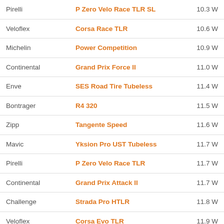| Brand | Model | Watts |
| --- | --- | --- |
| Pirelli | P Zero Velo Race TLR SL | 10.3 W |
| Veloflex | Corsa Race TLR | 10.6 W |
| Michelin | Power Competition | 10.9 W |
| Continental | Grand Prix Force II | 11.0 W |
| Enve | SES Road Tire Tubeless | 11.4 W |
| Bontrager | R4 320 | 11.5 W |
| Zipp | Tangente Speed | 11.6 W |
| Mavic | Yksion Pro UST Tubeless | 11.7 W |
| Pirelli | P Zero Velo Race TLR | 11.7 W |
| Continental | Grand Prix Attack II | 11.7 W |
| Challenge | Strada Pro HTLR | 11.8 W |
| Veloflex | Corsa Evo TLR | 11.9 W |
| Hutchinson | Fusion 5 Galactik TLR 11Storm | 12.0 W |